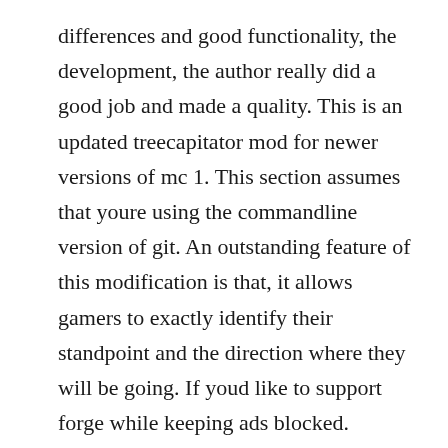differences and good functionality, the development, the author really did a good job and made a quality. This is an updated treecapitator mod for newer versions of mc 1. This section assumes that youre using the commandline version of git. An outstanding feature of this modification is that, it allows gamers to exactly identify their standpoint and the direction where they will be going. If youd like to support forge while keeping ads blocked.
Ill simply reexplain what he explained, but